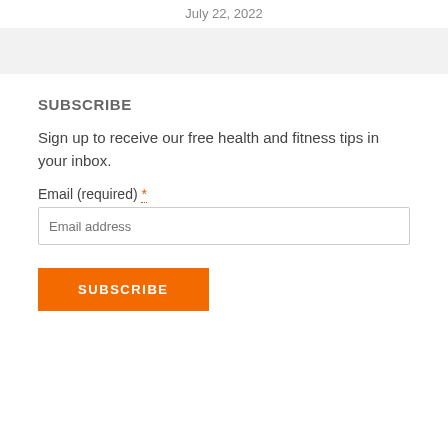July 22, 2022
SUBSCRIBE
Sign up to receive our free health and fitness tips in your inbox.
Email (required) *
SUBSCRIBE